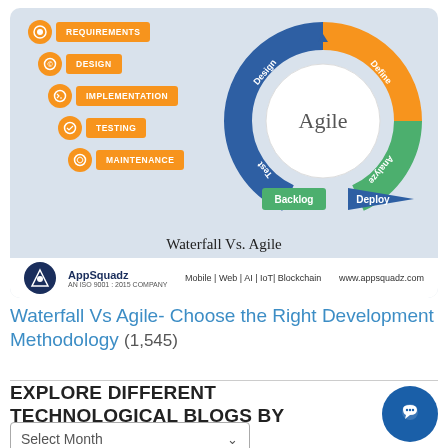[Figure (infographic): Infographic comparing Waterfall vs Agile methodologies. Left side shows Waterfall steps in orange bars (Requirements, Design, Implementation, Testing, Maintenance) in a staircase layout. Right side shows Agile cycle diagram with a circle labeled 'Agile' in the center, surrounded by colored arcs: Design (blue), Define (orange), Analyze (green), Test (blue), and two boxes below: Backlog (green) and Deploy (blue arrow). Title reads 'Waterfall Vs. Agile'. Footer shows AppSquadz logo with 'Mobile | Web | AI | IoT | Blockchain' and 'www.appsquadz.com'.]
Waterfall Vs Agile- Choose the Right Development Methodology (1,545)
EXPLORE DIFFERENT TECHNOLOGICAL BLOGS BY MONTHS!
Select Month